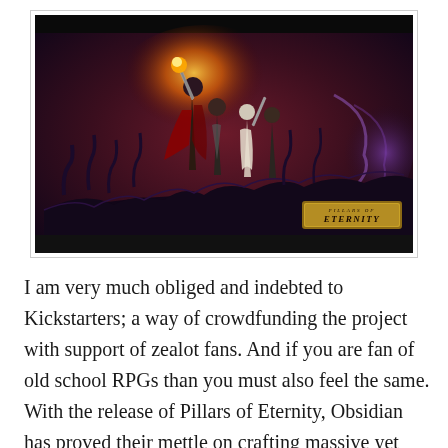[Figure (illustration): Fantasy artwork showing a group of warriors/heroes fighting against dark creatures, with a glowing magical light in the center. A golden 'Pillars of Eternity' logo badge is visible in the bottom-right corner. The image has dark bars at top and bottom.]
I am very much obliged and indebted to Kickstarters; a way of crowdfunding the project with support of zealot fans. And if you are fan of old school RPGs than you must also feel the same. With the release of Pillars of Eternity, Obsidian has proved their mettle on crafting massive yet engaging RPG. This proves that what can